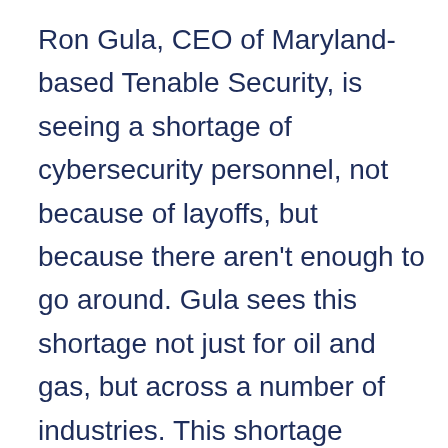Ron Gula, CEO of Maryland-based Tenable Security, is seeing a shortage of cybersecurity personnel, not because of layoffs, but because there aren't enough to go around. Gula sees this shortage not just for oil and gas, but across a number of industries. This shortage begins at the high school level, with not enough students interested in becoming computer forensics technicians. Local universities in Maryland such as Johns Hopkins University have capitalized on demand for these workers by offering degree programs in this area. But outside of this area, Silicon Valley and New York City, cybersecurity-related jobs aren't in the vocabulary of the school